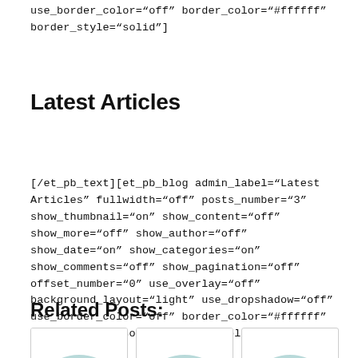use_border_color="off" border_color="#ffffff" border_style="solid"]
Latest Articles
[/et_pb_text][et_pb_blog admin_label="Latest Articles" fullwidth="off" posts_number="3" show_thumbnail="on" show_content="off" show_more="off" show_author="off" show_date="on" show_categories="on" show_comments="off" show_pagination="off" offset_number="0" use_overlay="off" background_layout="light" use_dropshadow="off" use_border_color="off" border_color="#ffffff" border_style="solid"] [/et_pb_blog][/et_pb_column][/et_pb_row][/et_pb_section]
Related Posts:
[Figure (photo): Three thumbnail images with circular mountain/landscape illustration icons, partially visible at bottom of page]